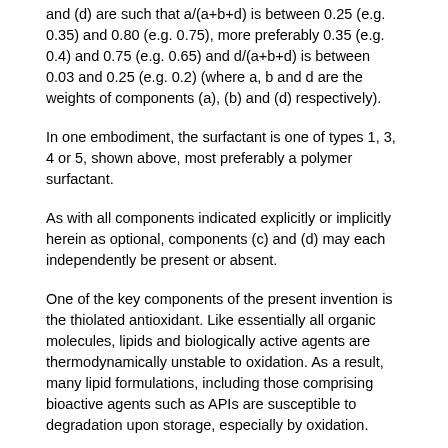and (d) are such that a/(a+b+d) is between 0.25 (e.g. 0.35) and 0.80 (e.g. 0.75), more preferably 0.35 (e.g. 0.4) and 0.75 (e.g. 0.65) and d/(a+b+d) is between 0.03 and 0.25 (e.g. 0.2) (where a, b and d are the weights of components (a), (b) and (d) respectively).
In one embodiment, the surfactant is one of types 1, 3, 4 or 5, shown above, most preferably a polymer surfactant.
As with all components indicated explicitly or implicitly herein as optional, components (c) and (d) may each independently be present or absent.
One of the key components of the present invention is the thiolated antioxidant. Like essentially all organic molecules, lipids and biologically active agents are thermodynamically unstable to oxidation. As a result, many lipid formulations, including those comprising bioactive agents such as APIs are susceptible to degradation upon storage, especially by oxidation.
Unfortunately, many common antioxidants are not highly compatible with lipid systems. Indeed, the present inventors have surprisingly established that some antioxidants commonly used in previous systems can cause increased degradation of active agents in a lipid system. This applies particularly to peptide active agents. The present inventors have therefore analysed a variety of potential antioxidant compounds and classes for use with lipid based matrix systems and have surprisingly found that one